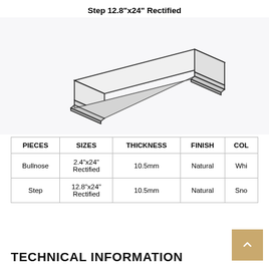Step 12.8"x24" Rectified
[Figure (engineering-diagram): Isometric/perspective line drawing of a stair step tile piece (step with bullnose edge), shown in outline form against a light background.]
| PIECES | SIZES | THICKNESS | FINISH | COL... |
| --- | --- | --- | --- | --- |
| Bullnose | 2.4"x24" Rectified | 10.5mm | Natural | Whi... |
| Step | 12.8"x24" Rectified | 10.5mm | Natural | Sno... |
TECHNICAL INFORMATION